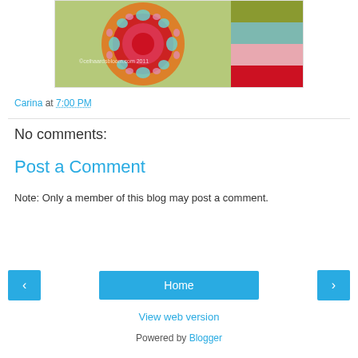[Figure (photo): Crochet granny square in orange, red, pink, and teal colors on a green polka-dot background, with color palette swatches on the right side showing olive, light blue, pink, and red.]
Carina at 7:00 PM
No comments:
Post a Comment
Note: Only a member of this blog may post a comment.
Home
View web version
Powered by Blogger